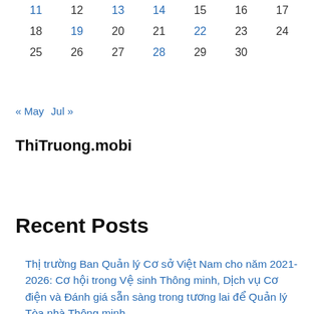| 11 | 12 | 13 | 14 | 15 | 16 | 17 |
| 18 | 19 | 20 | 21 | 22 | 23 | 24 |
| 25 | 26 | 27 | 28 | 29 | 30 |  |
« May  Jul »
ThiTruong.mobi
Recent Posts
Thị trường Ban Quản lý Cơ sở Việt Nam cho năm 2021-2026: Cơ hội trong Vệ sinh Thông minh, Dịch vụ Cơ điện và Đánh giá sẵn sàng trong tương lai để Quản lý Tòa nhà Thông minh